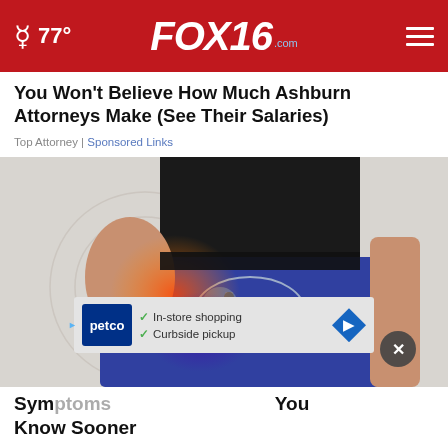77° FOX16.com
You Won't Believe How Much Ashburn Attorneys Make (See Their Salaries)
Top Attorney | Sponsored Links
[Figure (photo): Person holding hip area with medical illustration overlay showing hip joint and pain area highlighted in red/orange, wearing black shirt and blue pants]
Sym... You Know Sooner